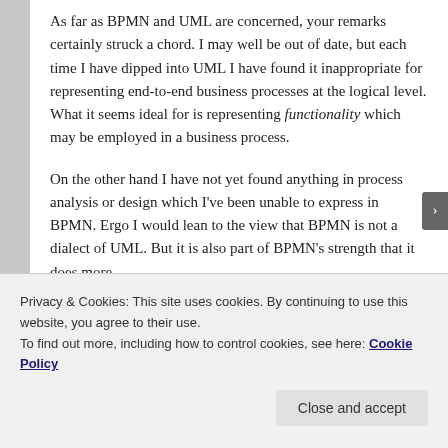As far as BPMN and UML are concerned, your remarks certainly struck a chord. I may well be out of date, but each time I have dipped into UML I have found it inappropriate for representing end-to-end business processes at the logical level. What it seems ideal for is representing functionality which may be employed in a business process.
On the other hand I have not yet found anything in process analysis or design which I've been unable to express in BPMN. Ergo I would lean to the view that BPMN is not a dialect of UML. But it is also part of BPMN's strength that it does more
Privacy & Cookies: This site uses cookies. By continuing to use this website, you agree to their use.
To find out more, including how to control cookies, see here: Cookie Policy